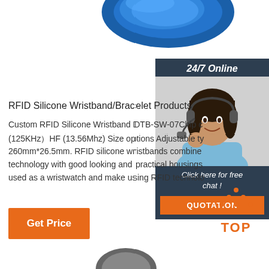[Figure (photo): Blue RFID silicone wristband/bracelet shown at top of page]
[Figure (photo): 24/7 online customer support chat widget with woman wearing headset]
RFID Silicone Wristband/Bracelet Products
Custom RFID Silicone Wristband DTB-SW-07Chip options LF (125KHz）HF (13.56Mhz) Size options Adjustable type 260mm*26.5mm. RFID silicone wristbands combine technology with good looking and practical housings used as a wristwatch and make using RFID technology
[Figure (illustration): Orange Get Price button]
[Figure (illustration): TOP arrow icon in orange dots with TOP text in orange]
[Figure (photo): Bottom portion of a wristband visible at bottom of page]